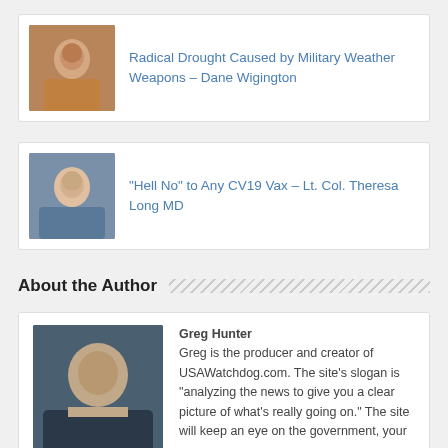[Figure (photo): Thumbnail photo of Dane Wigington, a man in a patterned shirt]
Radical Drought Caused by Military Weather Weapons – Dane Wigington
[Figure (photo): Thumbnail photo of Lt. Col. Theresa Long MD, a woman in a blue shirt]
"Hell No" to Any CV19 Vax – Lt. Col. Theresa Long MD
About the Author
[Figure (photo): Portrait photo of Greg Hunter, a man in a suit]
Greg Hunter
Greg is the producer and creator of USAWatchdog.com. The site’s slogan is “analyzing the news to give you a clear picture of what’s really going on.” The site will keep an eye on the government, your